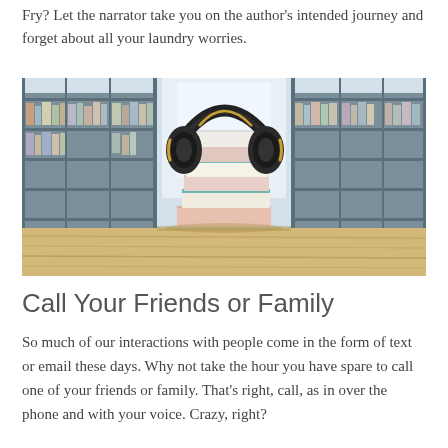Fry? Let the narrator take you on the author's intended journey and forget about all your laundry worries.
[Figure (photo): A stack of books with large over-ear headphones placed on top, sitting on a wooden table in a library with bookshelves in the background.]
Call Your Friends or Family
So much of our interactions with people come in the form of text or email these days. Why not take the hour you have spare to call one of your friends or family. That's right, call, as in over the phone and with your voice. Crazy, right?